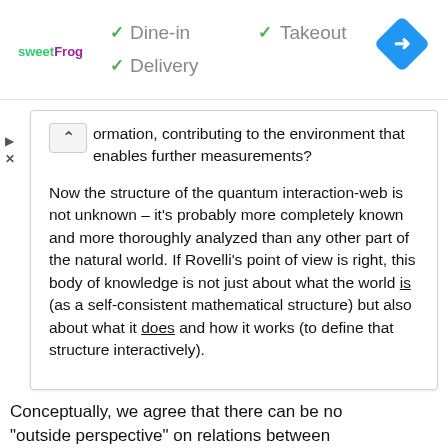[Figure (screenshot): SweetFrog advertisement banner showing Dine-in, Takeout, and Delivery options with green checkmarks, SweetFrog logo on left and blue navigation diamond icon on right]
ormation, contributing to the environment that enables further measurements?
Now the structure of the quantum interaction-web is not unknown – it's probably more completely known and more thoroughly analyzed than any other part of the natural world. If Rovelli's point of view is right, this body of knowledge is not just about what the world is (as a self-consistent mathematical structure) but also about what it does and how it works (to define that structure interactively).
Conceptually, we agree that there can be no "outside perspective" on relations between